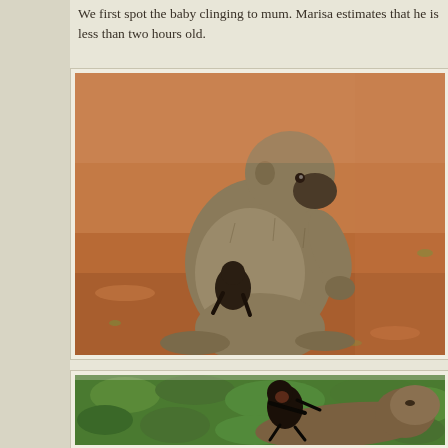We first spot the baby clinging to mum. Marisa estimates that he is less than two hours old.
[Figure (photo): A large adult olive baboon sits on red dirt ground, cradling and holding a tiny newborn baby baboon against its chest. The adult baboon faces sideways showing its profile with a dark muzzle. The baby is partially visible beneath the adult's arm. Red laterite soil ground visible.]
[Figure (photo): A tiny dark baby baboon clings to the back of an adult baboon lying down in lush green vegetation. The baby baboon is dark-furred and small, clinging with arms and legs to the larger adult's brown fur. Green tropical foliage in background.]